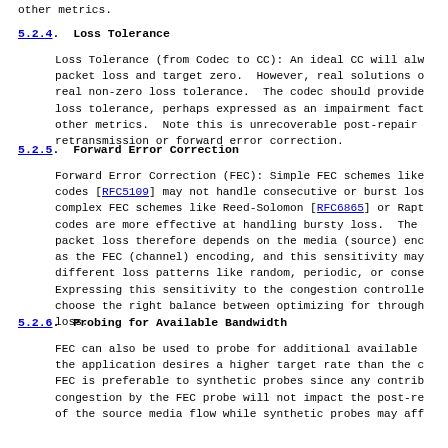other metrics.
5.2.4.  Loss Tolerance
Loss Tolerance (from Codec to CC): An ideal CC will always target zero packet loss and target zero. However, real solutions often have a real non-zero loss tolerance. The codec should provide its current loss tolerance, perhaps expressed as an impairment factor or other metrics. Note this is unrecoverable post-repair loss after retransmission or forward error correction.
5.2.5.  Forward Error Correction
Forward Error Correction (FEC): Simple FEC schemes like XOR-based codes [RFC5109] may not handle consecutive or burst loss, while complex FEC schemes like Reed-Solomon [RFC6865] or Raptor codes are more effective at handling bursty loss. The sensitivity to packet loss therefore depends on the media (source) encoding as well as the FEC (channel) encoding, and this sensitivity may vary for different loss patterns like random, periodic, or consecutive. Expressing this sensitivity to the congestion controller allows it to choose the right balance between optimizing for throughput versus loss.
5.2.6.  Probing for Available Bandwidth
FEC can also be used to probe for additional available bandwidth if the application desires a higher target rate than the current rate. FEC is preferable to synthetic probes since any contribution to congestion by the FEC probe will not impact the post-repair quality of the source media flow while synthetic probes may affect